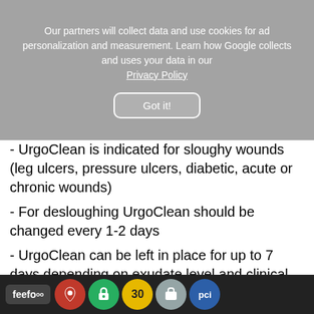[Figure (screenshot): Cookie consent overlay with text about data collection and a 'Got it!' button]
- UrgoClean is indicated for sloughy wounds (leg ulcers, pressure ulcers, diabetic, acute or chronic wounds)
- For desloughing UrgoClean should be changed every 1-2 days
- UrgoClean can be left in place for up to 7 days depending on exudate level and clinical condition of the wound
Method of use
Secure in pla...
[Figure (screenshot): Browser toolbar with feefo logo and various app icons at the bottom of the screen]